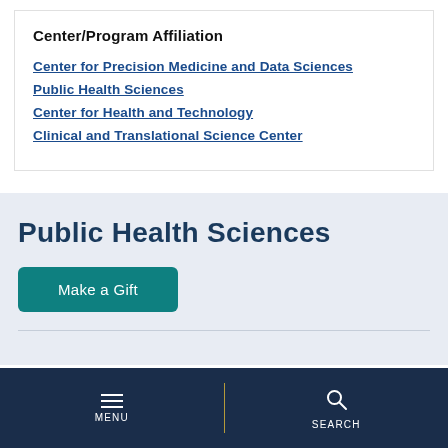Center/Program Affiliation
Center for Precision Medicine and Data Sciences
Public Health Sciences
Center for Health and Technology
Clinical and Translational Science Center
Public Health Sciences
Make a Gift
MENU  SEARCH